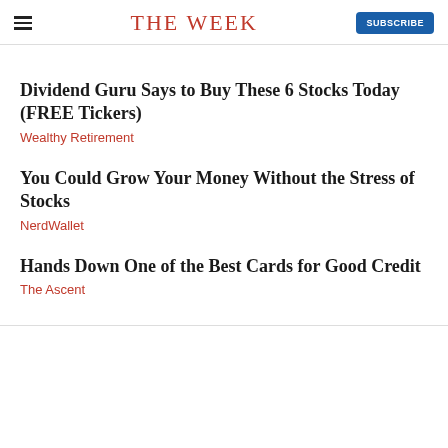THE WEEK
Dividend Guru Says to Buy These 6 Stocks Today (FREE Tickers)
Wealthy Retirement
You Could Grow Your Money Without the Stress of Stocks
NerdWallet
Hands Down One of the Best Cards for Good Credit
The Ascent